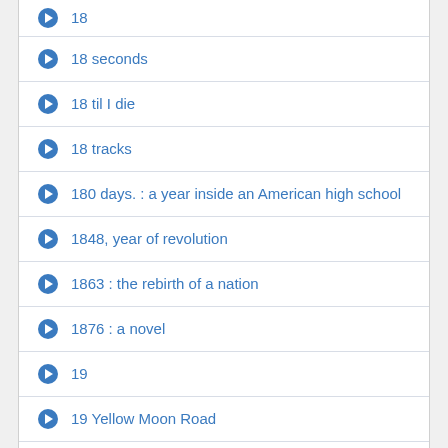18
18 seconds
18 til I die
18 tracks
180 days. : a year inside an American high school
1848, year of revolution
1863 : the rebirth of a nation
1876 : a novel
19
19 Yellow Moon Road
19 girls and me
19 ... [partial, cut off]